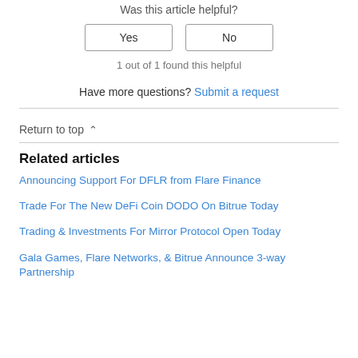Was this article helpful?
Yes | No
1 out of 1 found this helpful
Have more questions? Submit a request
Return to top
Related articles
Announcing Support For DFLR from Flare Finance
Trade For The New DeFi Coin DODO On Bitrue Today
Trading & Investments For Mirror Protocol Open Today
Gala Games, Flare Networks, & Bitrue Announce 3-way Partnership